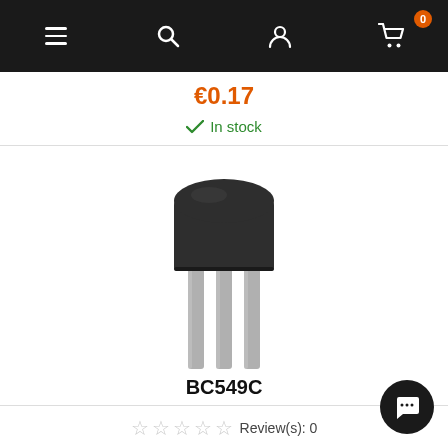Navigation bar with menu, search, account, and cart icons
€0.17
In stock
[Figure (photo): A BC549C NPN transistor in TO-92 package, showing three metal leads below a dark cylindrical body with flat face, photographed on white background.]
BC549C
Review(s): 0